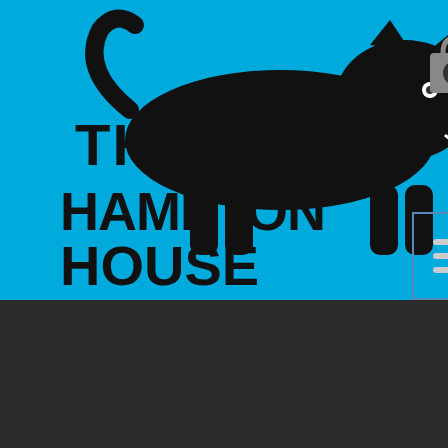[Figure (screenshot): The Hampton House website navigation overlay showing cyan logo with black panther illustration, cart icon with 0, hamburger menu, anniversary message, Save The Hampton House heading in cyan, social media icons (Instagram, Facebook, Twitter, YouTube), and a cyan Donate button, overlaid on a dark background panel.]
Happy 55th Anniversary To The Black Panther Party!
SAVE THE HAMPTON HOUSE
about the late Hampton. “He would have been so proud to see something like this.”
As Riales saw more people